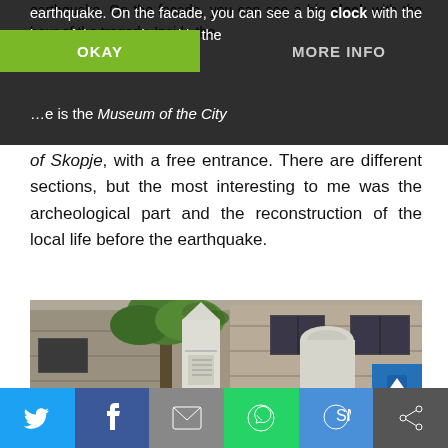earthquake. On the facade, you can see a big clock with the hour of the tragedy. Inside the …e is the Museum of the City of Skopje, with a free entrance. There are different sections, but the most interesting to me was the archeological part and the reconstruction of the local life before the earthquake.
[Figure (screenshot): Cookie consent overlay bar with OKAY and MORE INFO buttons over webpage text]
[Figure (photo): Outdoor photo of stone monuments/tombstones in front of a concrete building with ivy, Museum of the City of Skopje]
[Figure (infographic): Social sharing bar at the bottom with Twitter, Facebook, Email, WhatsApp, SMS, and share buttons]